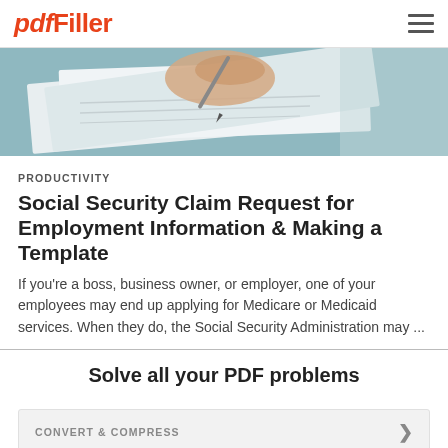pdfFiller
[Figure (photo): Close-up of a hand writing on paper documents with a pen, desk setting with papers and a blue/teal background]
PRODUCTIVITY
Social Security Claim Request for Employment Information & Making a Template
If you’re a boss, business owner, or employer, one of your employees may end up applying for Medicare or Medicaid services. When they do, the Social Security Administration may ...
Solve all your PDF problems
CONVERT & COMPRESS